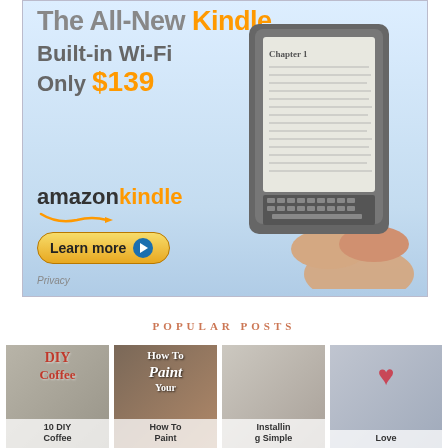[Figure (advertisement): Amazon Kindle advertisement banner. Text: 'The All-New Kindle Built-in Wi-Fi Only $139' with Amazon Kindle logo and 'Learn more' button. Shows image of Kindle e-reader device being held.]
POPULAR POSTS
[Figure (illustration): DIY Coffee thumbnail image with text 'DIY Coffee' and '10 DIY Coffee']
[Figure (illustration): How To Paint thumbnail with text 'How To Paint Your Countertops - How To Paint']
[Figure (illustration): Installing Simple shelf thumbnail with text 'Installing Simple']
[Figure (illustration): Love Notes/hearts thumbnail with text 'Love']